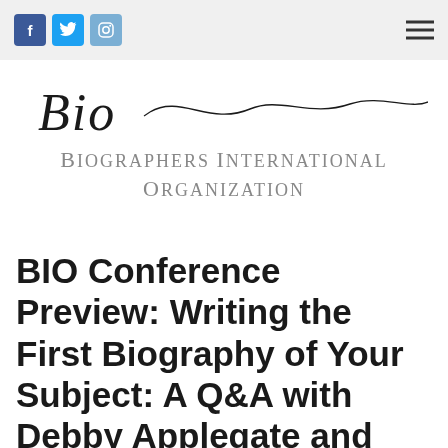f [Facebook] [Twitter] [Instagram] [menu]
[Figure (logo): Biographers International Organization logo with handwritten 'Bio' script and a wavy line, followed by 'BIOGRAPHERS INTERNATIONAL ORGANIZATION' in spaced serif capitals]
BIO Conference Preview: Writing the First Biography of Your Subject: A Q&A with Debby Applegate and Abigail